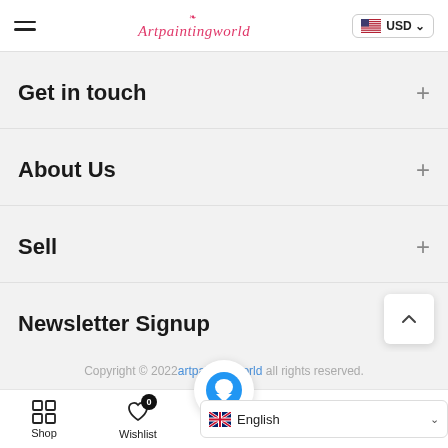Artpaintingworld — USD
Get in touch
About Us
Sell
Newsletter Signup
Copyright © 2022 artpaintingworld all rights reserved.
Shop | Wishlist | Cart | Search | English